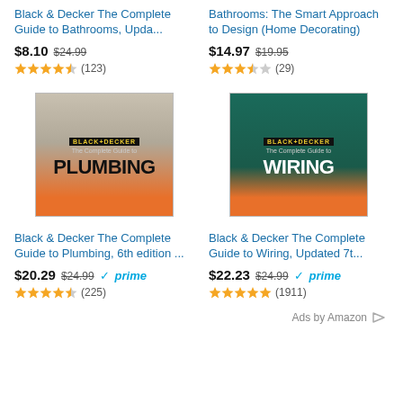Black & Decker The Complete Guide to Bathrooms, Upda...
Bathrooms: The Smart Approach to Design (Home Decorating)
$8.10  $24.99  ★★★★☆ (123)
$14.97  $19.95  ★★★★☆ (29)
[Figure (photo): Book cover: Black & Decker The Complete Guide to Plumbing, 6th edition]
[Figure (photo): Book cover: Black & Decker The Complete Guide to Wiring, Updated 7th edition]
Black & Decker The Complete Guide to Plumbing, 6th edition ...
Black & Decker The Complete Guide to Wiring, Updated 7t...
$20.29  $24.99  prime  ★★★★½ (225)
$22.23  $24.99  prime  ★★★★★ (1911)
Ads by Amazon